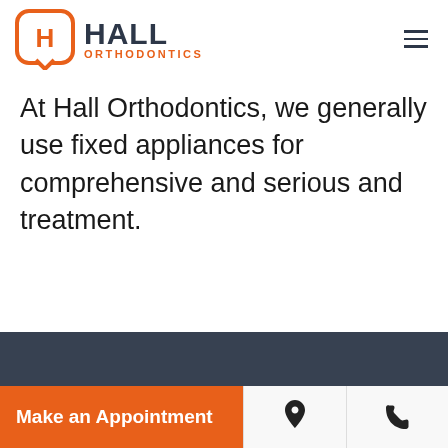[Figure (logo): Hall Orthodontics logo with orange tooth icon and dark text HALL ORTHODONTICS]
At Hall Orthodontics, we generally use fixed appliances for comprehensive and serious and treatment.
Make an Appointment | location icon | phone icon